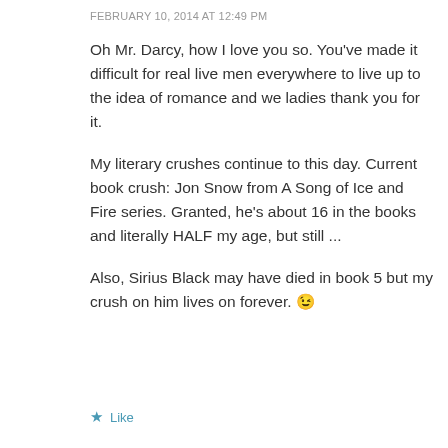FEBRUARY 10, 2014 AT 12:49 PM
Oh Mr. Darcy, how I love you so. You've made it difficult for real live men everywhere to live up to the idea of romance and we ladies thank you for it.
My literary crushes continue to this day. Current book crush: Jon Snow from A Song of Ice and Fire series. Granted, he's about 16 in the books and literally HALF my age, but still ...
Also, Sirius Black may have died in book 5 but my crush on him lives on forever. 😉
★ Like